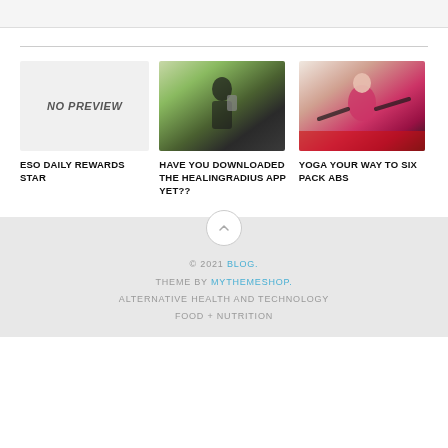[Figure (screenshot): Top gray bar area]
[Figure (photo): No preview placeholder box with italic bold text 'NO PREVIEW']
[Figure (photo): Woman sitting cross-legged outdoors looking at phone, yoga/wellness app context]
[Figure (photo): Woman in pink top doing yoga boat pose on red mat]
ESO DAILY REWARDS STAR
HAVE YOU DOWNLOADED THE HEALINGRADIUS APP YET??
YOGA YOUR WAY TO SIX PACK ABS
© 2021 BLOG. THEME BY MYTHEMESHOP. ALTERNATIVE HEALTH AND TECHNOLOGY FOOD + NUTRITION